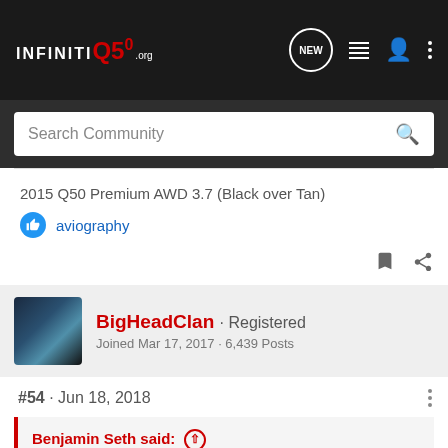INFINITI Q50 .org — NEW — menu icons
Search Community
2015 Q50 Premium AWD 3.7 (Black over Tan)
aviography
BigHeadClan · Registered
Joined Mar 17, 2017 · 6,439 Posts
#54 · Jun 18, 2018
Benjamin Seth said:
So, you're saying that 87 octane is dirtier than 93? Or that it's not filtered in the same manner at the pumps?